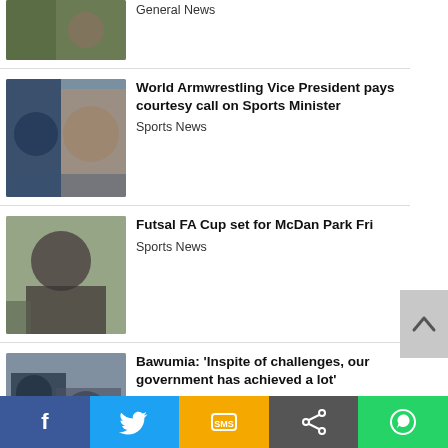[Figure (photo): Partial news thumbnail at top of page]
General News
[Figure (photo): Two men shaking hands, one in blue suit, one in traditional attire]
World Armwrestling Vice President pays courtesy call on Sports Minister
Sports News
[Figure (photo): Man in dark shirt standing outdoors]
Futsal FA Cup set for McDan Park Fri
Sports News
[Figure (photo): Two men looking at a document near a vehicle]
Bawumia: 'Inspite of challenges, our government has achieved a lot'
Politics
[Figure (photo): Partial thumbnail at bottom of page]
5 land guards arrested at Adjiringanor